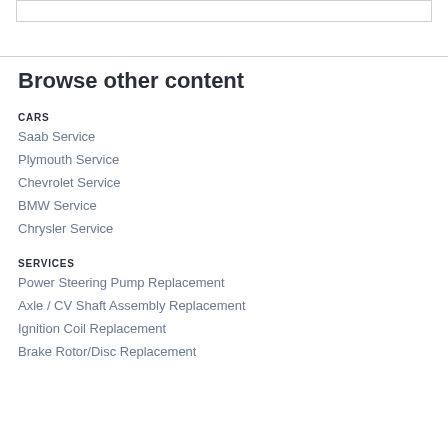Browse other content
CARS
Saab Service
Plymouth Service
Chevrolet Service
BMW Service
Chrysler Service
SERVICES
Power Steering Pump Replacement
Axle / CV Shaft Assembly Replacement
Ignition Coil Replacement
Brake Rotor/Disc Replacement